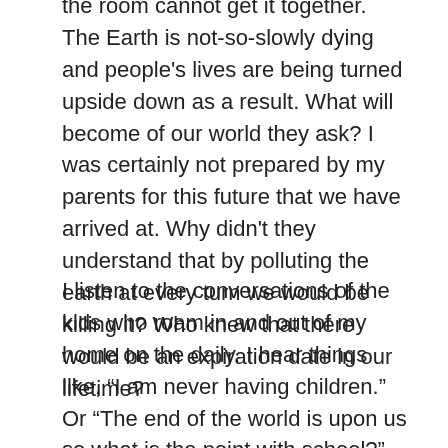the room cannot get it together. The Earth is not-so-slowly dying and people's lives are being turned upside down as a result. What will become of our world they ask? I was certainly not prepared by my parents for this future that we have arrived at. Why didn't they understand that by polluting the earth at every turn we would be killing it? Who knew that there would be an expiration date in our lifetime?
I listen to the conversations of the kids who roam in and out of my home on the daily. I hear things like, “I am never having children.” Or “The end of the world is upon us so what is the point with school?” And, “Why should we try when it’s already too late?” How does one effectively parent in today’s world? I have no idea. I just try to listen. I allow them to emote and express